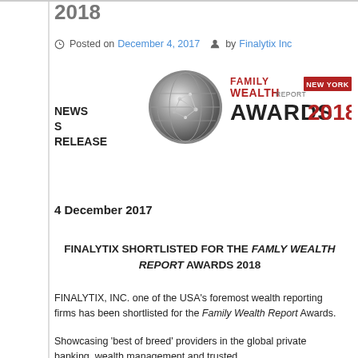2018
Posted on December 4, 2017  by Finalytix Inc
[Figure (logo): Family Wealth Report New York Awards 2018 logo with globe graphic]
NEWS RELEASE
4 December 2017
FINALYTIX SHORTLISTED FOR THE FAMLY WEALTH REPORT AWARDS 2018
FINALYTIX, INC. one of the USA's foremost wealth reporting firms has been shortlisted for the Family Wealth Report Awards.
Showcasing 'best of breed' providers in the global private banking, wealth management and trusted